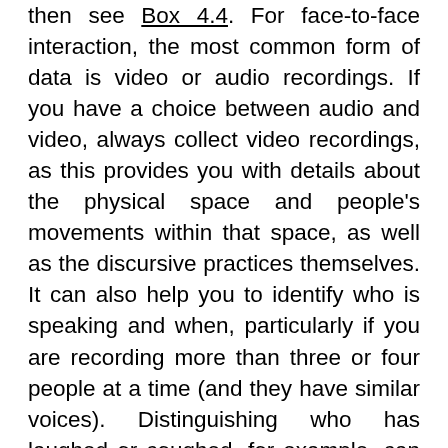then see Box 4.4. For face-to-face interaction, the most common form of data is video or audio recordings. If you have a choice between audio and video, always collect video recordings, as this provides you with details about the physical space and people's movements within that space, as well as the discursive practices themselves. It can also help you to identify who is speaking and when, particularly if you are recording more than three or four people at a time (and they have similar voices). Distinguishing who has laughed or coughed, for example, can be almost impossible by audio recordings alone, unless that person has a very distinctive voice. DP analysis relies on understanding the detail of what and how something has been said, and this